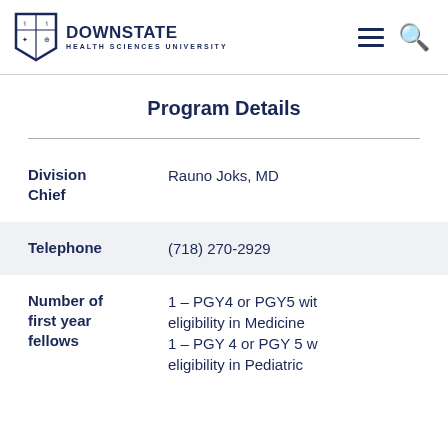DOWNSTATE HEALTH SCIENCES UNIVERSITY
Program Details
| Field | Value |
| --- | --- |
| Division Chief | Rauno Joks, MD |
| Telephone | (718) 270-2929 |
| Number of first year fellows | 1 – PGY4 or PGY5 with eligibility in Medicine 1 – PGY 4 or PGY 5 with eligibility in Pediatric |